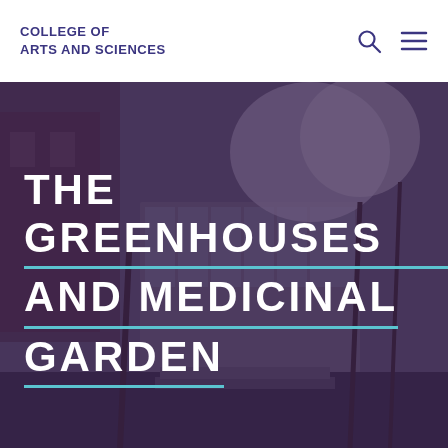COLLEGE OF ARTS AND SCIENCES
[Figure (photo): Exterior photo of a university greenhouse building with blooming trees, overlaid with a dark purple tint]
THE GREENHOUSES AND MEDICINAL GARDEN